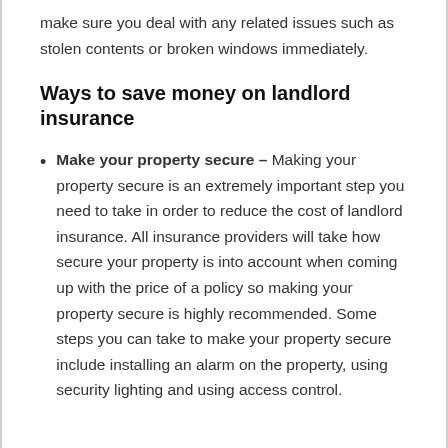make sure you deal with any related issues such as stolen contents or broken windows immediately.
Ways to save money on landlord insurance
Make your property secure – Making your property secure is an extremely important step you need to take in order to reduce the cost of landlord insurance. All insurance providers will take how secure your property is into account when coming up with the price of a policy so making your property secure is highly recommended. Some steps you can take to make your property secure include installing an alarm on the property, using security lighting and using access control.